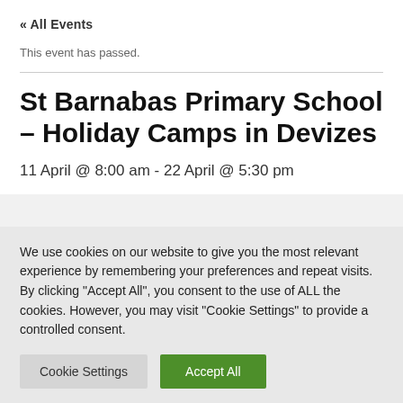« All Events
This event has passed.
St Barnabas Primary School – Holiday Camps in Devizes
11 April @ 8:00 am - 22 April @ 5:30 pm
We use cookies on our website to give you the most relevant experience by remembering your preferences and repeat visits. By clicking "Accept All", you consent to the use of ALL the cookies. However, you may visit "Cookie Settings" to provide a controlled consent.